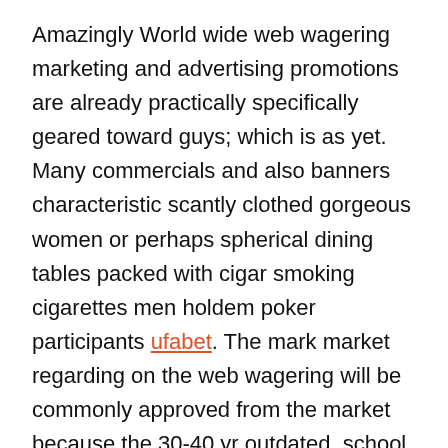Amazingly World wide web wagering marketing and advertising promotions are already practically specifically geared toward guys; which is as yet. Many commercials and also banners characteristic scantly clothed gorgeous women or perhaps spherical dining tables packed with cigar smoking cigarettes men holdem poker participants ufabet. The mark market regarding on the web wagering will be commonly approved from the market because the 30-40 yr outdated, school knowledgeable men. Also Playboy provides a unique on the web gambling establishment, which usually simply by classification on your own is unquestionably precise immediately and also totally